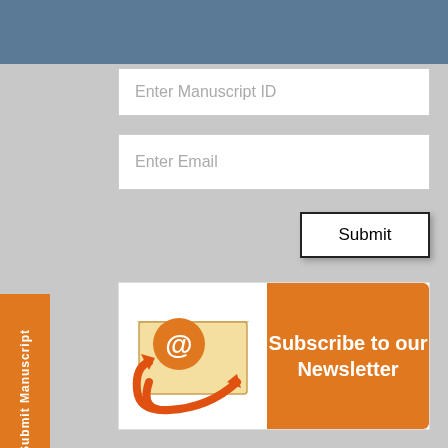[Figure (screenshot): Navigation menu bar with Menu button and hamburger icon on dark navy background]
Enter Manuscript ID
Enter Email
Submit
[Figure (illustration): Subscribe to our Newsletter banner with envelope/@ icon and orange button]
Top Editors
Robert William
Submit Manuscript